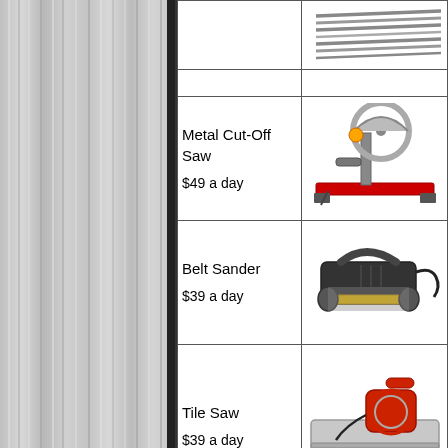[Figure (photo): Left side panel with gray vertical striped corrugated metal texture]
| Product | Image |
| --- | --- |
| [metal bars image] | [metal bars photo] |
|  |  |
| Metal Cut-Off Saw
$49 a day | [metal cut-off saw photo] |
| Belt Sander
$39 a day | [belt sander photo] |
| Tile Saw
$39 a day | [tile saw photo] |